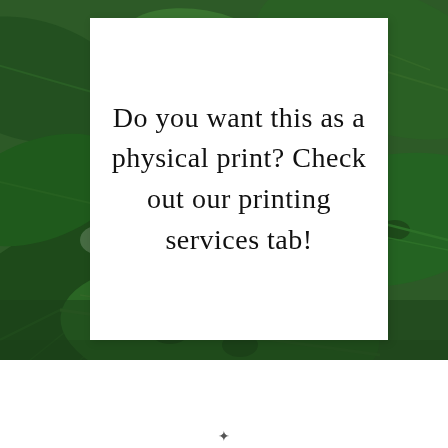[Figure (photo): Background photo of dark green monstera leaves arranged densely, filling the upper 80% of the page.]
Do you want this as a physical print? Check out our printing services tab!